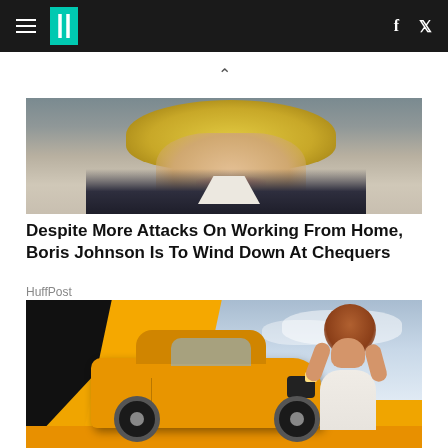HuffPost navigation bar with hamburger menu, logo, Facebook and Twitter icons
[Figure (photo): Close-up photo of Boris Johnson's face from below, showing his chin, lips, and blond hair, wearing a dark suit with white collar]
Despite More Attacks On Working From Home, Boris Johnson Is To Wind Down At Chequers
HuffPost
[Figure (photo): Advertisement showing an orange Skoda Fabia hatchback car with a woman posing beside it against a cloudy sky background, with black and orange diagonal design elements]